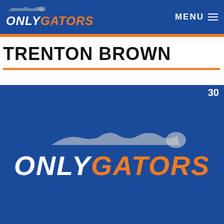ONLY GATORS — MENU
TRENTON BROWN
[Figure (logo): Only Gators logo centered on dark blue background with number 30 in top right]
[Figure (photo): BitLife advertisement banner: 'WHEN REAL LIFE IS QUARANTINED' with rainbow and game character graphics]